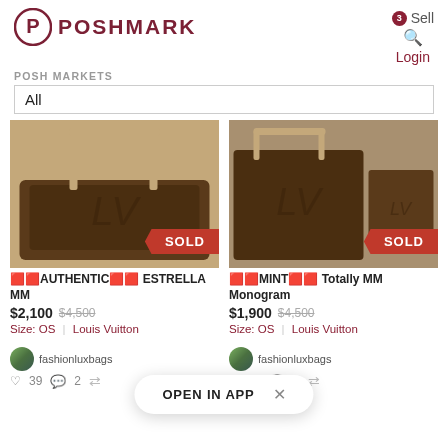[Figure (logo): Poshmark logo with circular 'P' icon and POSHMARK text in dark red]
Sell
Login
POSH MARKETS
All
[Figure (photo): Louis Vuitton monogram Estrella MM handbag with SOLD banner]
[Figure (photo): Louis Vuitton monogram Totally MM handbag with SOLD banner]
🟥🟥AUTHENTIC🟥🟥 ESTRELLA MM
$2,100  $4,500
Size: OS | Louis Vuitton
🟥🟥MINT🟥🟥 Totally MM Monogram
$1,900  $4,500
Size: OS | Louis Vuitton
fashionluxbags
fashionluxbags
OPEN IN APP  ×
♡ 39  💬 2  ⇄
♡ 26  💬 1  ⇄